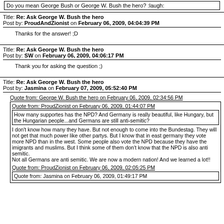Do you mean George Bush or George W. Bush the hero?  :laugh:
Title: Re: Ask George W. Bush the hero
Post by: ProudAndZionist on February 06, 2009, 04:04:39 PM
Thanks for the answer!  ;D
Title: Re: Ask George W. Bush the hero
Post by: SW on February 06, 2009, 04:06:17 PM
Thank you for asking the question ;)
Title: Re: Ask George W. Bush the hero
Post by: Jasmina on February 07, 2009, 05:52:40 PM
Quote from: George W. Bush the hero on February 06, 2009, 02:34:56 PM
Quote from: ProudZionist on February 06, 2009, 01:44:07 PM
How many supportes has the NPD? And Germany is really beautiful, like Hungary, but the Hungarian people...and Germans are still anti-semitic?
I don't know how many they have. But not enough to come into the Bundestag. They will not get that much power like other partys. But I know that in east germany they vote more NPD than in the west. Some people also vote the NPD because they have the imigrants and muslims. But I think some of them don't know that the NPD is also anti semitic.
Not all Germans are anti semitic. We are now a modern nation! And we learned a lot!!
Quote from: ProudZionist on February 06, 2009, 02:05:25 PM
Quote from: Jasmina on February 06, 2009, 01:49:17 PM